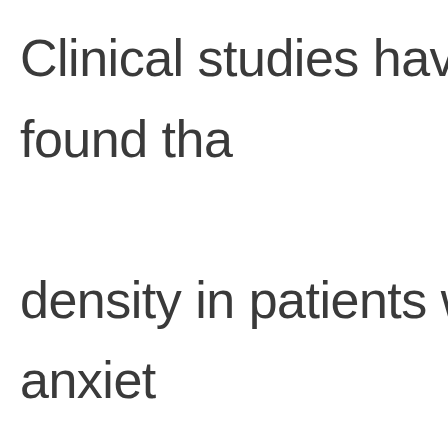Clinical studies have found that bone density in patients with anxiety is lower than in ordinary people. The brain, commander of the body, processes external signals, and sends instructions to peripheral bones. Does anxiety induce a decline in bone density?